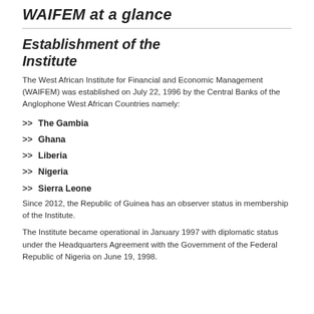WAIFEM at a glance
Establishment of the Institute
The West African Institute for Financial and Economic Management (WAIFEM) was established on July 22, 1996 by the Central Banks of the Anglophone West African Countries namely:
The Gambia
Ghana
Liberia
Nigeria
Sierra Leone
Since 2012, the Republic of Guinea has an observer status in membership of the Institute.
The Institute became operational in January 1997 with diplomatic status under the Headquarters Agreement with the Government of the Federal Republic of Nigeria on June 19, 1998.